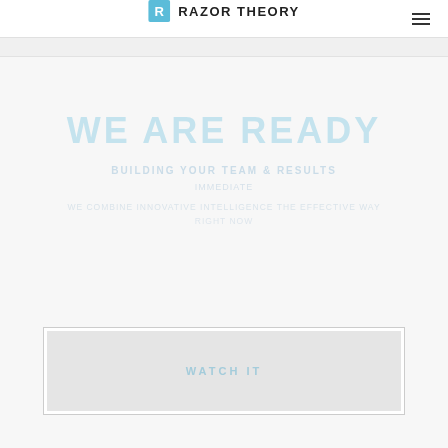RAZOR THEORY
WE ARE READY
Hero tagline and supporting text lines
[Figure (screenshot): Embedded video player placeholder with light gray background]